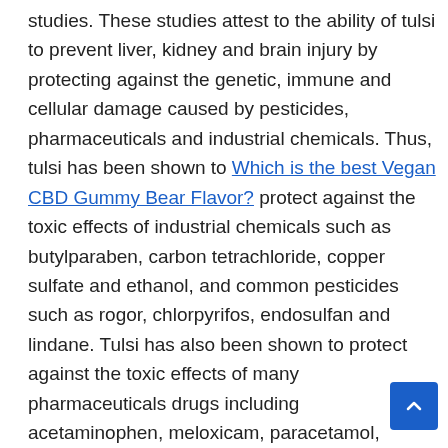studies. These studies attest to the ability of tulsi to prevent liver, kidney and brain injury by protecting against the genetic, immune and cellular damage caused by pesticides, pharmaceuticals and industrial chemicals. Thus, tulsi has been shown to Which is the best Vegan CBD Gummy Bear Flavor? protect against the toxic effects of industrial chemicals such as butylparaben, carbon tetrachloride, copper sulfate and ethanol, and common pesticides such as rogor, chlorpyrifos, endosulfan and lindane. Tulsi has also been shown to protect against the toxic effects of many pharmaceuticals drugs including acetaminophen, meloxicam, paracetamol, haloperidol and anti-tubercular drugs. As a